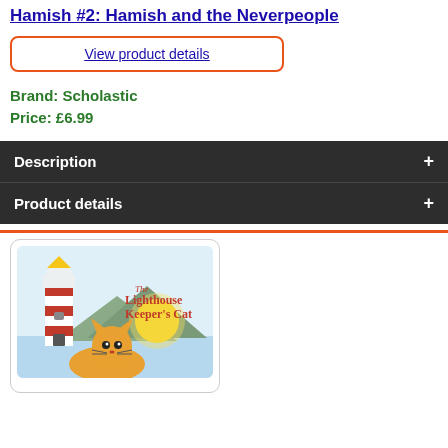Hamish #2: Hamish and the Neverpeople
View product details
Brand: Scholastic
Price: £6.99
Description
Product details
[Figure (illustration): Book cover illustration of 'The Lighthouse Keeper's Cat' showing a striped lighthouse on the left, a cat in the foreground, and a yellow sun over water with mountains in the background. The title text reads 'The Lighthouse Keeper's Cat' in orange lettering.]